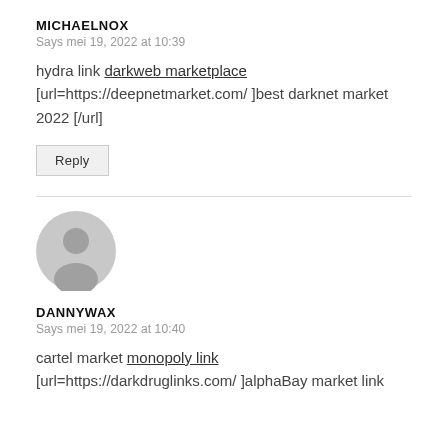MICHAELNOX
Says mei 19, 2022 at 10:39
hydra link darkweb marketplace [url=https://deepnetmarket.com/ ]best darknet market 2022 [/url]
Reply
[Figure (illustration): Generic user avatar placeholder - grey circle with person silhouette]
DANNYWAX
Says mei 19, 2022 at 10:40
cartel market monopoly link [url=https://darkdruglinks.com/ ]alphaBay market link